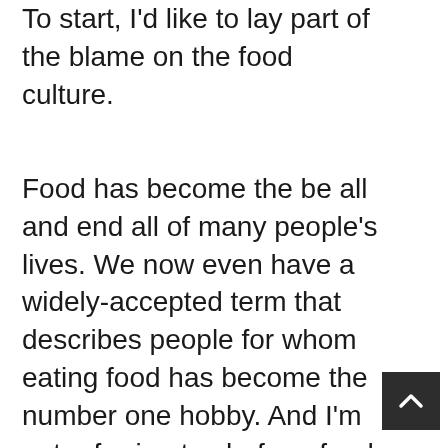To start, I'd like to lay part of the blame on the food culture.
Food has become the be all and end all of many people's lives. We now even have a widely-accepted term that describes people for whom eating food has become the number one hobby. And I'm not referring to chefs or food critics either. These people are colloquially